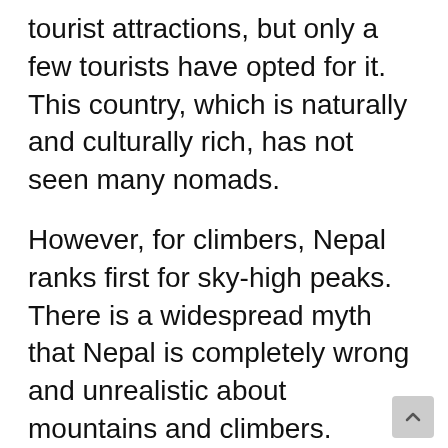tourist attractions, but only a few tourists have opted for it. This country, which is naturally and culturally rich, has not seen many nomads.
However, for climbers, Nepal ranks first for sky-high peaks. There is a widespread myth that Nepal is completely wrong and unrealistic about mountains and climbers.
Nepal has amazing mountaineering, cultural and historical heritage, rich flora and fauna, scenic tourist attractions, and much more. Nepal is small